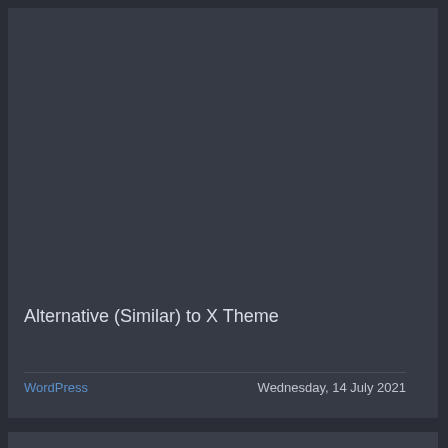Alternative (Similar) to X Theme
WordPress    Wednesday, 14 July 2021